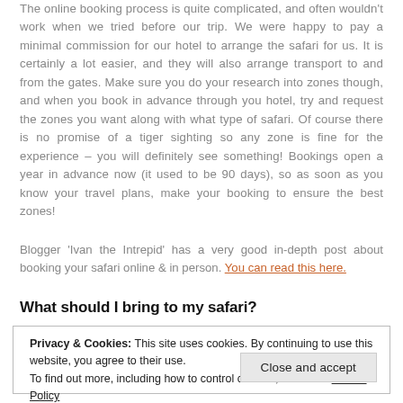The online booking process is quite complicated, and often wouldn't work when we tried before our trip. We were happy to pay a minimal commission for our hotel to arrange the safari for us. It is certainly a lot easier, and they will also arrange transport to and from the gates. Make sure you do your research into zones though, and when you book in advance through you hotel, try and request the zones you want along with what type of safari. Of course there is no promise of a tiger sighting so any zone is fine for the experience – you will definitely see something! Bookings open a year in advance now (it used to be 90 days), so as soon as you know your travel plans, make your booking to ensure the best zones!
Blogger 'Ivan the Intrepid' has a very good in-depth post about booking your safari online & in person. You can read this here.
What should I bring to my safari?
Privacy & Cookies: This site uses cookies. By continuing to use this website, you agree to their use.
To find out more, including how to control cookies, see here: Cookie Policy
Close and accept